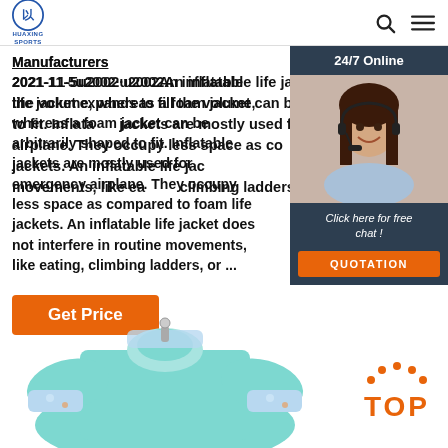HUAXING SPORTS
Manufacturers 2021-11-5u2002·u2002An inflatable life jacket expands to fill the volume, whereas a foam jacket can be arbitrarily shaped to fit. Inflatable jackets are mostly used for emergency airplane. They occupy less space as compared to foam life jackets. An inflatable life jacket does not interfere in routine movements, like ea... climbing ladders, or ...
Get Price
[Figure (photo): Customer service representative with headset, 24/7 Online chat widget with QUOTATION button]
[Figure (photo): Child's aqua/teal swim rashguard/life jacket product photo]
[Figure (logo): TOP badge logo in orange with dot pattern]